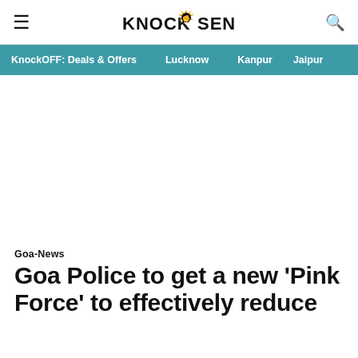KnockSense
KnockOFF: Deals & Offers  Lucknow  Kanpur  Jaipur
Goa-News
Goa Police to get a new 'Pink Force' to effectively reduce